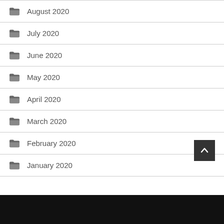August 2020
July 2020
June 2020
May 2020
April 2020
March 2020
February 2020
January 2020